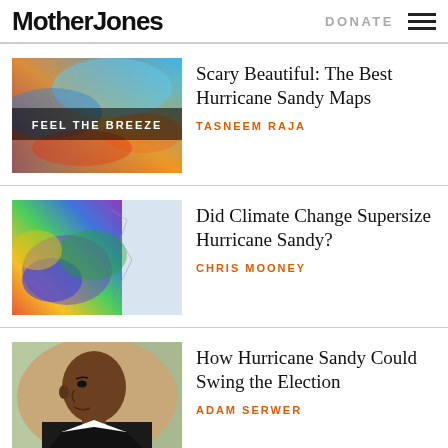Mother Jones | DONATE
[Figure (screenshot): Thumbnail: FEEL THE BREEZE — colorful wind/atmosphere satellite map of Hurricane Sandy]
Scary Beautiful: The Best Hurricane Sandy Maps
TASNEEM RAJA
[Figure (screenshot): Thumbnail: Colorful satellite/radar map showing Hurricane Sandy over the eastern US]
Did Climate Change Supersize Hurricane Sandy?
CHRIS MOONEY
[Figure (photo): Thumbnail: Photo of President Obama in profile looking to the right]
How Hurricane Sandy Could Swing the Election
ADAM SERWER